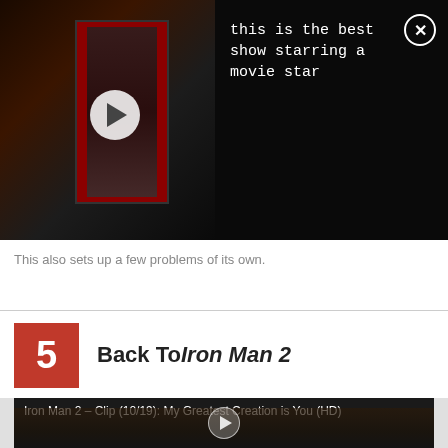[Figure (screenshot): Video thumbnail with play button on left, and text 'this is the best show starring a movie star' on right with close button]
This also sets up a few problems of its own.
5   Back To Iron Man 2
[Figure (screenshot): Iron Man 2 video clip thumbnail with play button. Title: Iron Man 2 – Clip (10/19): My Greatest Creation is You (HD)]